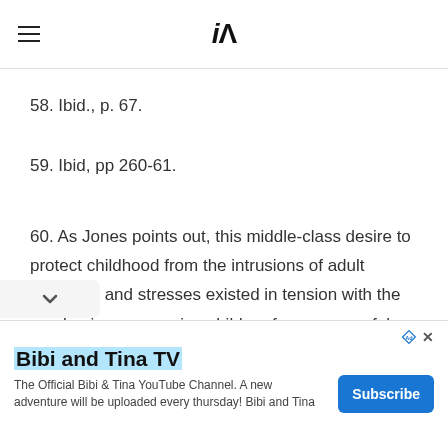iA
58. Ibid., p. 67.
59. Ibid, pp 260-61.
60. As Jones points out, this middle-class desire to protect childhood from the intrusions of adult demands and stresses existed in tension with the emphasis on preparing children for a successful hood—which meant, first and foremost,